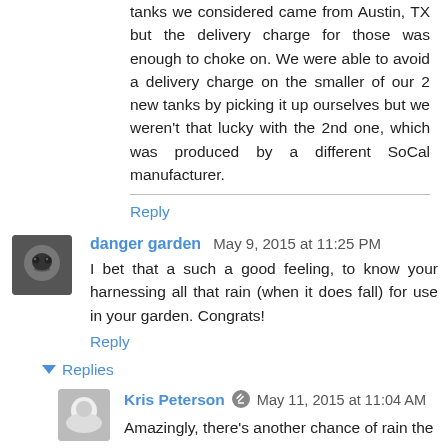tanks we considered came from Austin, TX but the delivery charge for those was enough to choke on. We were able to avoid a delivery charge on the smaller of our 2 new tanks by picking it up ourselves but we weren't that lucky with the 2nd one, which was produced by a different SoCal manufacturer.
Reply
danger garden  May 9, 2015 at 11:25 PM
I bet that a such a good feeling, to know your harnessing all that rain (when it does fall) for use in your garden. Congrats!
Reply
Replies
Kris Peterson  May 11, 2015 at 11:04 AM
Amazingly, there's another chance of rain the